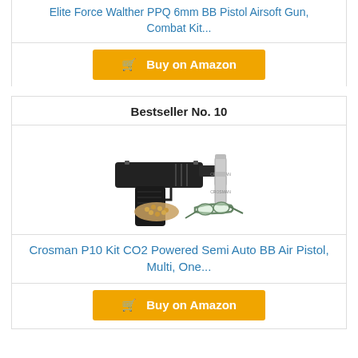Elite Force Walther PPQ 6mm BB Pistol Airsoft Gun, Combat Kit...
Buy on Amazon
Bestseller No. 10
[Figure (photo): Crosman P10 Kit CO2 Powered Semi Auto BB Air Pistol with CO2 cartridges, BBs, and safety glasses]
Crosman P10 Kit CO2 Powered Semi Auto BB Air Pistol, Multi, One...
Buy on Amazon